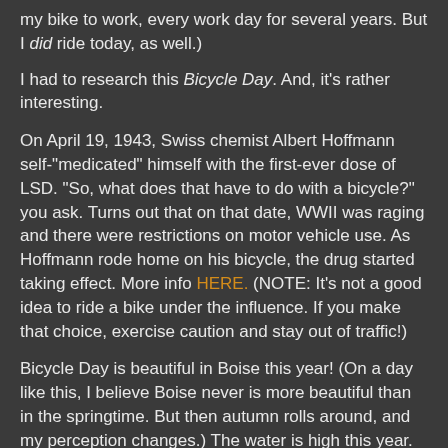my bike to work, every work day for several years. But I did ride today, as well.)
I had to research this Bicycle Day. And, it's rather interesting.
On April 19, 1943, Swiss chemist Albert Hoffmann self-"medicated" himself with the first-ever dose of LSD. "So, what does that have to do with a bicycle?" you ask. Turns out that on that date, WWII was raging and there were restrictions on motor vehicle use. As Hoffmann rode home on his bicycle, the drug started taking effect. More info HERE. (NOTE: It's not a good idea to ride a bike under the influence. If you make that choice, exercise caution and stay out of traffic!)
Bicycle Day is beautiful in Boise this year! (On a day like this, I believe Boise never is more beautiful than in the springtime. But then autumn rolls around, and my perception changes.) The water is high this year. Routes along the river bottoms are compromised in several places. (Imagine the outcry if motor-traffic roads went underwater for a few weeks!)
Moth-balled sentence appears to continue at bottom...